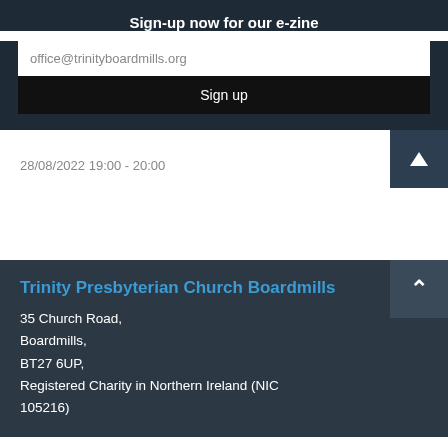Sign-up now for our e-zine
office@trinityboardmills.org
Sign up
28/08/2022  19:00 - 20:00
Trinity Presbyterian Church Boardmills
35 Church Road,
Boardmills,
BT27 6UP,
Registered Charity in Northern Ireland (NIC 105216)